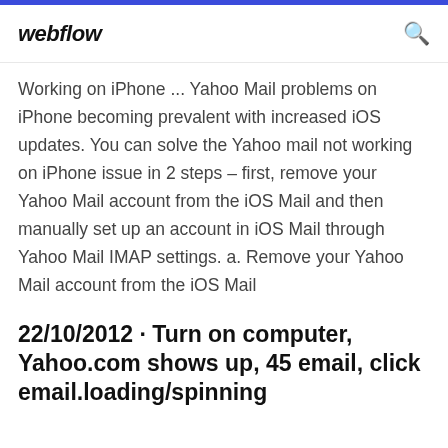webflow
Working on iPhone ... Yahoo Mail problems on iPhone becoming prevalent with increased iOS updates. You can solve the Yahoo mail not working on iPhone issue in 2 steps – first, remove your Yahoo Mail account from the iOS Mail and then manually set up an account in iOS Mail through Yahoo Mail IMAP settings. a. Remove your Yahoo Mail account from the iOS Mail
22/10/2012 · Turn on computer, Yahoo.com shows up, 45 email, click email.loading/spinning